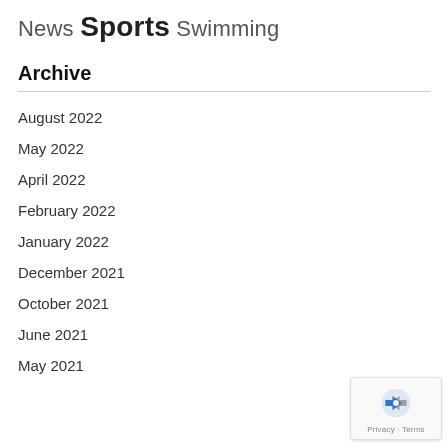News Sports Swimming
Archive
August 2022
May 2022
April 2022
February 2022
January 2022
December 2021
October 2021
June 2021
May 2021